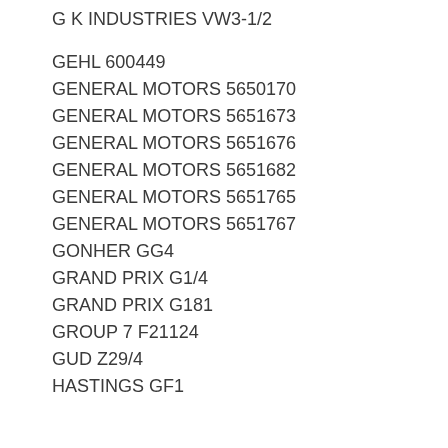G K INDUSTRIES VW3-1/2
GEHL 600449
GENERAL MOTORS 5650170
GENERAL MOTORS 5651673
GENERAL MOTORS 5651676
GENERAL MOTORS 5651682
GENERAL MOTORS 5651765
GENERAL MOTORS 5651767
GONHER GG4
GRAND PRIX G1/4
GRAND PRIX G181
GROUP 7 F21124
GUD Z29/4
HASTINGS GF1